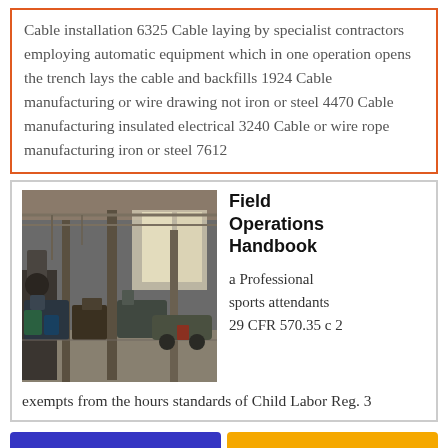Cable installation 6325 Cable laying by specialist contractors employing automatic equipment which in one operation opens the trench lays the cable and backfills 1924 Cable manufacturing or wire drawing not iron or steel 4470 Cable manufacturing insulated electrical 3240 Cable or wire rope manufacturing iron or steel 7612
[Figure (photo): Interior of an industrial factory/warehouse with machinery, equipment, and large open space with metal columns and natural lighting from windows.]
Field Operations Handbook
a Professional sports attendants 29 CFR 570.35 c 2
exempts from the hours standards of Child Labor Reg. 3
Get a Quote
Chat Now